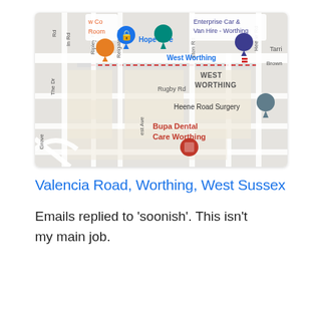[Figure (map): Google Maps view of West Worthing area, showing streets including Rugby Rd, Ripley Rd, Reigate Rd, Eton Rd, Heene Rd, The Drive, Brown, Tarring. Landmarks shown: Hope Hive, West Worthing station, Enterprise Car & Van Hire - Worthing, Heene Road Surgery, Bupa Dental Care Worthing. Map pins and icons are visible.]
Valencia Road, Worthing, West Sussex
Emails replied to 'soonish'. This isn't my main job.